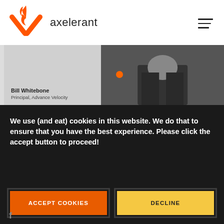[Figure (logo): Axelerant logo with orange flame and X mark, followed by the text 'axelerant' in dark gray]
[Figure (photo): Person named Bill Whitebone, Principal at Advance Velocity, partially visible in photo strip with gray left panel showing name and title, dark background on right with orange dot detail]
We use (and eat) cookies in this website. We do that to ensure that you have the best experience. Please click the accept button to proceed!
ACCEPT COOKIES
DECLINE